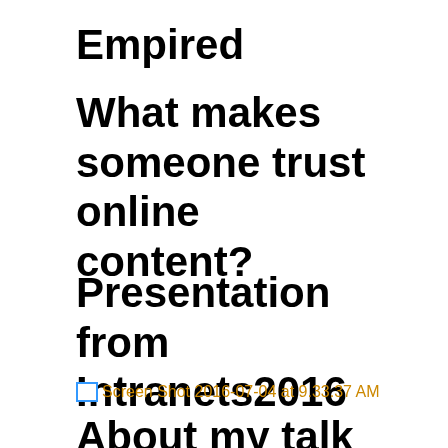Empired
What makes someone trust online content?
Presentation from Intranets2016
[Figure (screenshot): Broken image placeholder labeled 'Screen Shot 2016-07-04 at 9.33.37 AM']
About my talk